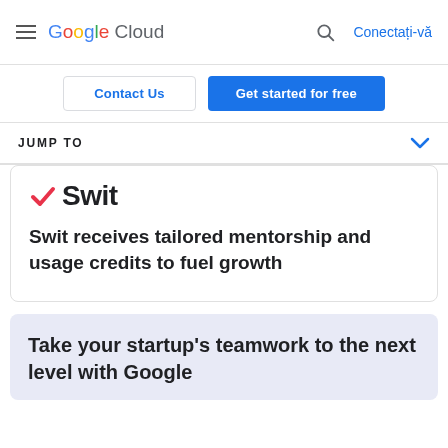Google Cloud — Conectați-vă
Contact Us
Get started for free
JUMP TO
[Figure (logo): Swit logo with red checkmark and bold 'Swit' text]
Swit receives tailored mentorship and usage credits to fuel growth
Take your startup's teamwork to the next level with Google